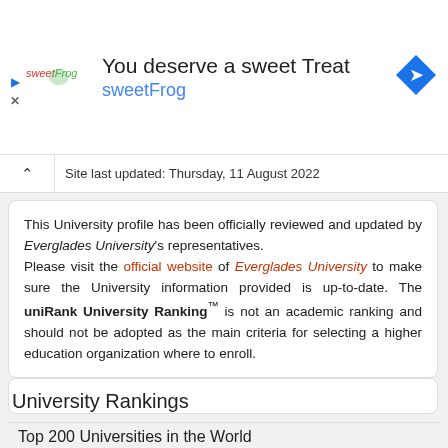[Figure (other): sweetFrog advertisement banner with logo, text 'You deserve a sweet Treat', brand name 'sweetFrog', and a navigation icon]
Site last updated: Thursday, 11 August 2022
This University profile has been officially reviewed and updated by Everglades University's representatives. Please visit the official website of Everglades University to make sure the University information provided is up-to-date. The uniRank University Ranking™ is not an academic ranking and should not be adopted as the main criteria for selecting a higher education organization where to enroll.
University Rankings
Top 200 Universities in the World